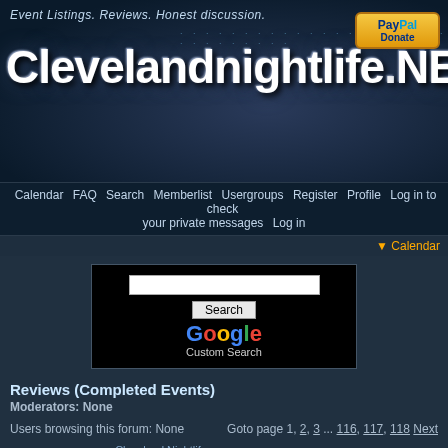[Figure (screenshot): ClevelandNightlife.NET website banner with tagline 'Event Listings. Reviews. Honest discussion.' and PayPal Donate button]
Calendar  FAQ  Search  Memberlist  Usergroups  Register  Profile  Log in to check your private messages  Log in
Calendar
[Figure (screenshot): Google Custom Search widget with search input and Search button]
Reviews (Completed Events)
Moderators: None
Users browsing this forum: None
Goto page 1, 2, 3 ... 116, 117, 118  Next
New Topic  Cleveland Nightlife Forum Index : Reviews (Completed Events)  Mark all topics read
Topics in this Forum
| Topic Title | Replies | Author | Views |
| --- | --- | --- | --- |
| whatsapp +1(213)537-3072 BUY CISSP,CISA,CHST,CISCO,CSSP,CISM | 0 | pmpcerts | 3791 |
| Deep Intentions pres Colette & Heather|Roc Bar| Sat 7.18 | 2 | stoutxtc | 15905 |
| algoRhythm presents: Dance Anthems | 21 Lounge| Sat 7.25.15 | 0 | jakec | 6051 |